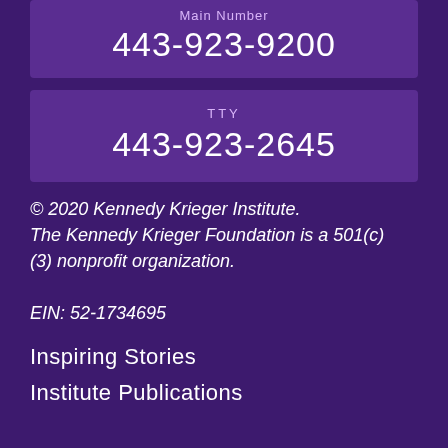Main Number
443-923-9200
TTY
443-923-2645
© 2020 Kennedy Krieger Institute.
The Kennedy Krieger Foundation is a 501(c)(3) nonprofit organization.
EIN: 52-1734695
Inspiring Stories
Institute Publications